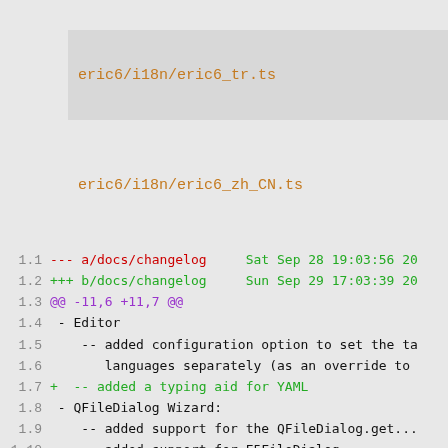eric6/i18n/eric6_tr.ts
eric6/i18n/eric6_zh_CN.ts
1.1  --- a/docs/changelog     Sat Sep 28 19:03:56 20
1.2  +++ b/docs/changelog     Sun Sep 29 17:03:39 20
1.3  @@ -11,6 +11,7 @@
1.4   - Editor
1.5       -- added configuration option to set the ta
1.6          languages separately (as an override to
1.7  +   -- added a typing aid for YAML
1.8   - QFileDialog Wizard:
1.9       -- added support for the QFileDialog.get...
1.10      -- added support for E5FileDialog
2.1  --- a/eric6.e4p  Sat Sep 28 19:03:56 2019 +0200